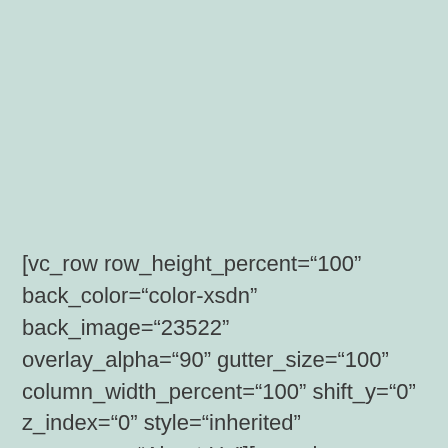[vc_row row_height_percent="100" back_color="color-xsdn" back_image="23522" overlay_alpha="90" gutter_size="100" column_width_percent="100" shift_y="0" z_index="0" style="inherited" row_name="About Us"][vc_column column_width_percent="100"